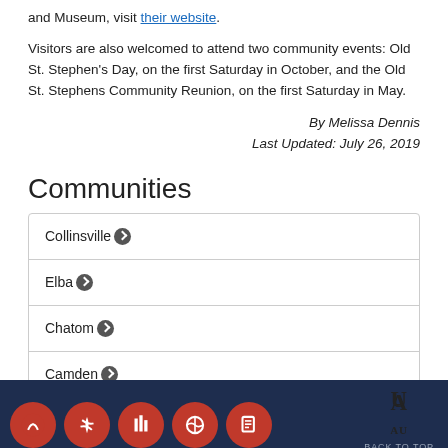and Museum, visit their website.
Visitors are also welcomed to attend two community events: Old St. Stephen's Day, on the first Saturday in October, and the Old St. Stephens Community Reunion, on the first Saturday in May.
By Melissa Dennis
Last Updated: July 26, 2019
Communities
Collinsville
Elba
Chatom
Camden
[Figure (logo): Auburn University logo with 'BACK TO TOP' text and orange circular icons in the footer]